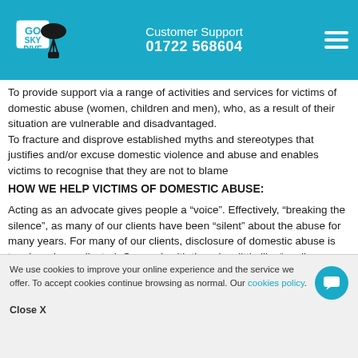Customer Support 01722 568604
To provide support via a range of activities and services for victims of domestic abuse (women, children and men), who, as a result of their situation are vulnerable and disadvantaged.
To fracture and disprove established myths and stereotypes that justifies and/or excuse domestic violence and abuse and enables victims to recognise that they are not to blame
HOW WE HELP VICTIMS OF DOMESTIC ABUSE:
Acting as an advocate gives people a “voice”. Effectively, “breaking the silence”, as many of our clients have been “silent” about the abuse for many years. For many of our clients, disclosure of domestic abuse is tough and complicated. Our work with them is a little like “peeling an onion”. We find there are many layers of difficulties they need help and support with
We use cookies to improve your online experience and the service we offer. To accept cookies continue browsing as normal. Our cookies policy.
Close X